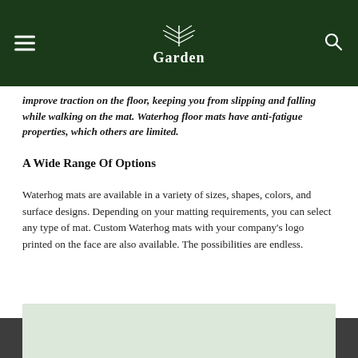Garden
improve traction on the floor, keeping you from slipping and falling while walking on the mat. Waterhog floor mats have anti-fatigue properties, which others are limited.
A Wide Range Of Options
Waterhog mats are available in a variety of sizes, shapes, colors, and surface designs. Depending on your matting requirements, you can select any type of mat. Custom Waterhog mats with your company's logo printed on the face are also available. The possibilities are endless.
[Figure (photo): Light green/grey rectangular area at the bottom of the page, partially visible, likely an image placeholder or footer image.]